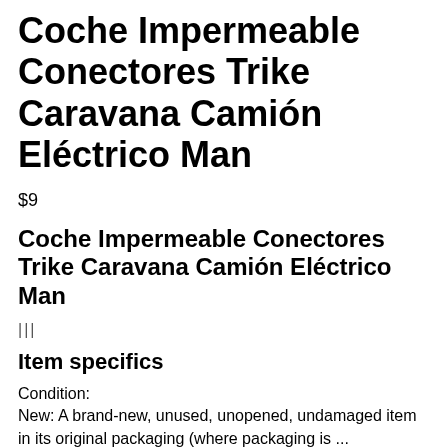Coche Impermeable Conectores Trike Caravana Camión Eléctrico Man
$9
Coche Impermeable Conectores Trike Caravana Camión Eléctrico Man
|||
Item specifics
Condition:
New: A brand-new, unused, unopened, undamaged item in its original packaging (where packaging is ...
New: A brand-new, unused, unopened, undamaged item in its original packaging (where packaging is applicable). Packaging should be the same as what is found in a retail store, unless the